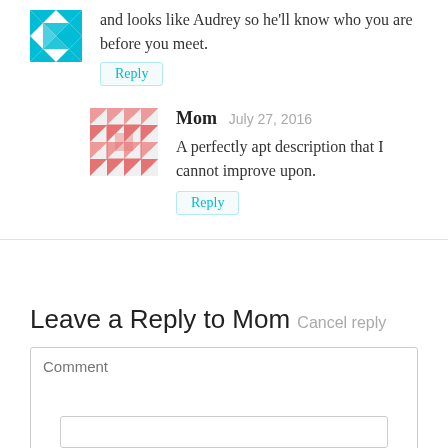and looks like Audrey so he'll know who you are before you meet.
Reply
Mom  July 27, 2016
A perfectly apt description that I cannot improve upon.
Reply
Leave a Reply to Mom  Cancel reply
Comment
Name